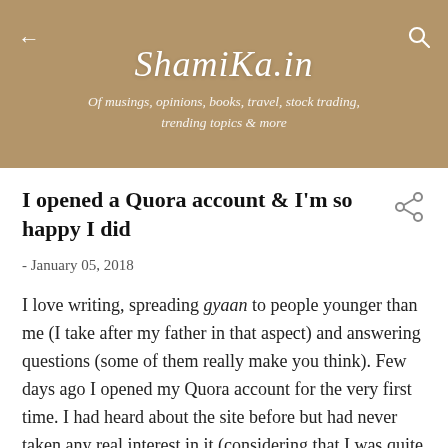ShamiKa.in — Of musings, opinions, books, travel, stock trading, trending topics & more
I opened a Quora account & I'm so happy I did
- January 05, 2018
I love writing, spreading gyaan to people younger than me (I take after my father in that aspect) and answering questions (some of them really make you think). Few days ago I opened my Quora account for the very first time. I had heard about the site before but had never taken any real interest in it (considering that I was quite busy the entire year organizing college events).